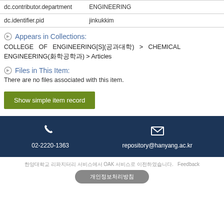| dc.contributor.department | ENGINEERING |
| dc.identifier.pid | jinkukkim |
Appears in Collections:
COLLEGE OF ENGINEERING[S](공과대학) > CHEMICAL ENGINEERING(화학공학과) > Articles
Files in This Item:
There are no files associated with this item.
Show simple item record
02-2220-1363   repository@hanyang.ac.kr
한양대학교 OpenAK에 대한 이용자의 의견을 받고 있습니다. Feedback 개인정보처리방침